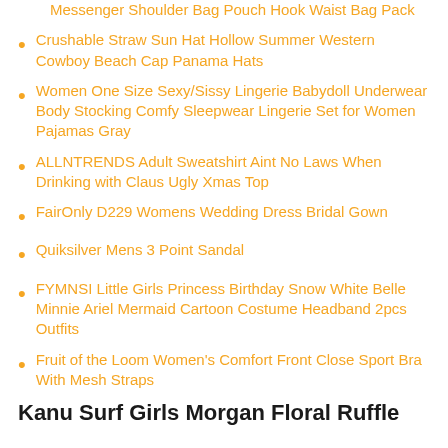Messenger Shoulder Bag Pouch Hook Waist Bag Pack
Crushable Straw Sun Hat Hollow Summer Western Cowboy Beach Cap Panama Hats
Women One Size Sexy/Sissy Lingerie Babydoll Underwear Body Stocking Comfy Sleepwear Lingerie Set for Women Pajamas Gray
ALLNTRENDS Adult Sweatshirt Aint No Laws When Drinking with Claus Ugly Xmas Top
FairOnly D229 Womens Wedding Dress Bridal Gown
Quiksilver Mens 3 Point Sandal
FYMNSI Little Girls Princess Birthday Snow White Belle Minnie Ariel Mermaid Cartoon Costume Headband 2pcs Outfits
Fruit of the Loom Women's Comfort Front Close Sport Bra With Mesh Straps
Kanu Surf Girls Morgan Floral Ruffle